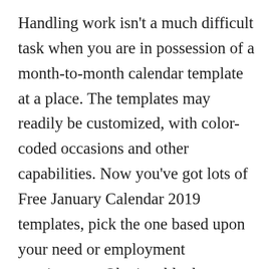Handling work isn't a much difficult task when you are in possession of a month-to-month calendar template at a place. The templates may readily be customized, with color-coded occasions and other capabilities. Now you've got lots of Free January Calendar 2019 templates, pick the one based upon your need or employment requirement. Obtain a blank calendar if you would like to design a calendar in accordance with your need or requirement. Besides that, folks utilize a calendar to restrain their daily or yearly work activities in a better way. A calendar makes it easier to earn a work program and implement it correctly so as to accomplish the desired goals. Designing a calendar by yourself will be a rather tedious job, requiring one to align unique columns and rows for various days and